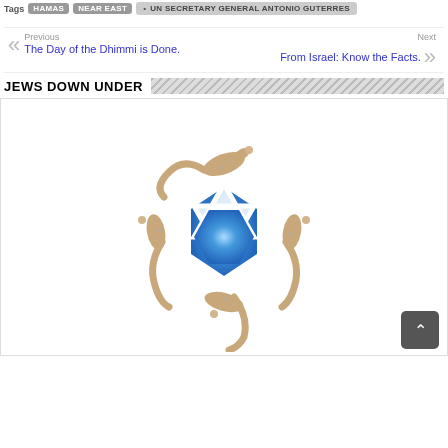Tags: UN SECRETARY GENERAL ANTONIO GUTERRES
Previous: The Day of the Dhimmi is Done.
Next: From Israel: Know the Facts.
JEWS DOWN UNDER
[Figure (illustration): Illustration showing kangaroo-like creatures arranged in a circle around a blue Star of David]